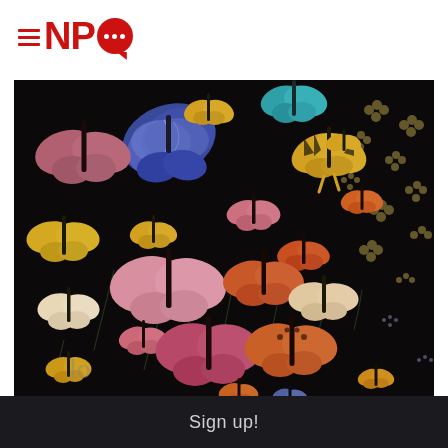≡ NPQ
[Figure (photo): Dark background with colorful butterflies scattered across, various species including blue morpho, yellow, pink, orange, and red butterflies with small floral elements on a black background]
Sign up!